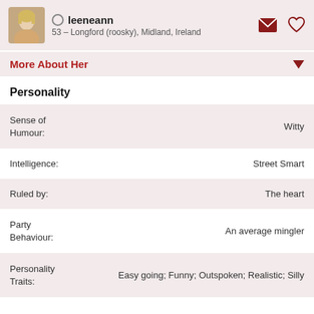leeneann
53 – Longford (roosky), Midland, Ireland
More About Her
Personality
| Trait | Value |
| --- | --- |
| Sense of Humour: | Witty |
| Intelligence: | Street Smart |
| Ruled by: | The heart |
| Party Behaviour: | An average mingler |
| Personality Traits: | Easy going; Funny; Outspoken; Realistic; Silly |